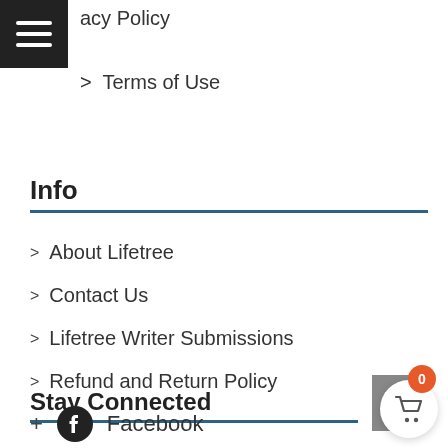[Figure (other): Hamburger menu icon (three white horizontal lines on black square background)]
acy Policy
> Terms of Use
Info
> About Lifetree
> Contact Us
> Lifetree Writer Submissions
> Refund and Return Policy
[Figure (other): Grey envelope/email icon button]
Stay Connected
[Figure (other): Orange circle badge with 0, and white shopping cart icon on white circular button]
+ Facebook